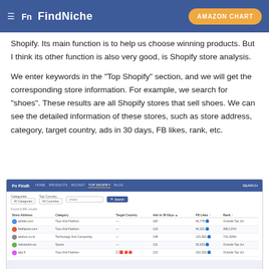FindNiche | AMAZON CHART
Shopify. Its main function is to help us choose winning products. But I think its other function is also very good, is Shopify store analysis.
We enter keywords in the “Top Shopify” section, and we will get the corresponding store information. For example, we search for “shoes”. These results are all Shopify stores that sell shoes. We can see the detailed information of these stores, such as store address, category, target country, ads in 30 days, FB likes, rank, etc.
[Figure (screenshot): Screenshot of FindNiche Top Shopify search results page showing a table with columns: Store Address, Category, Target Country, Ads in 30 Days, FB Likes, Rank. Rows include entries like adidas.com (Toys and Fashion), thefitpoint.com (Toys and Fashion), adobos.co.kr (Technology And Computing), reanandon.au (Sports), app.fr (Toys And Fashion) with various metrics.]